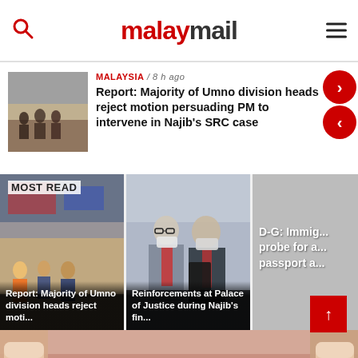malaymail
MALAYSIA / 8 h ago
Report: Majority of Umno division heads reject motion persuading PM to intervene in Najib's SRC case
MOST READ
[Figure (photo): Airport crowd scene]
Report: Majority of Umno division heads reject moti...
[Figure (photo): Men in suits at Palace of Justice wearing masks]
Reinforcements at Palace of Justice during Najib's fin...
[Figure (photo): Partially visible grey panel with text about immigration probe]
D-G: Immig... probe for a... passport a...
[Figure (photo): Close-up photo of a person's teeth and lips, dental image]